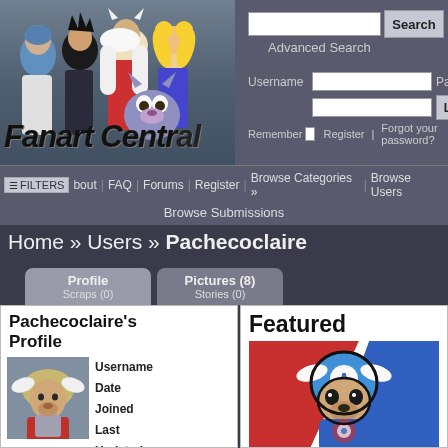[Figure (illustration): Fanart Central website header with anime characters (Rei Ayanami, Yu Yu Hakusho character, Inuyasha, Sailor Moon, and a creature) on the left, and Fanart Central logo text overlay]
Search
Advanced Search
Username  Password  Login
Remember  Register  Forgot your password?
FILTERS  bout  FAQ  Forums  Browse Categories  Browse Users  Browse Submissions
Home » Users » Pachecoclaire
Profile  Pictures (8)  Scraps (0)  Stories (0)
Pachecoclaire's Profile
Username Date Joined Last Updated Last visit
Featured
[Figure (illustration): Featured fan art image showing a Sonic the Hedgehog character dressed as Captain America with wings on helmet, blue suit, against red/white/blue striped background]